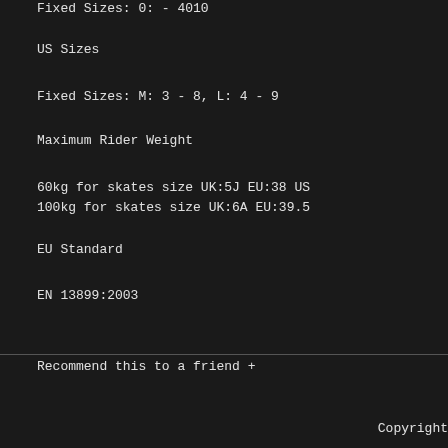Fixed Sizes: 0: - 4010
US Sizes
Fixed Sizes: M: 3 - 8, L: 4 - 9
Maximum Rider Weight
60kg for skates size UK:5J EU:38 US
100kg for skates size UK:6A EU:39.5
EU Standard
EN 13899:2003
Recommend this to a friend  +
Copyright